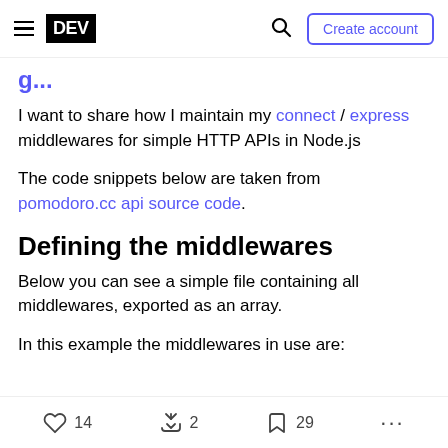DEV — Create account
g...
I want to share how I maintain my connect / express middlewares for simple HTTP APIs in Node.js
The code snippets below are taken from pomodoro.cc api source code.
Defining the middlewares
Below you can see a simple file containing all middlewares, exported as an array.
In this example the middlewares in use are:
14  2  29  ...